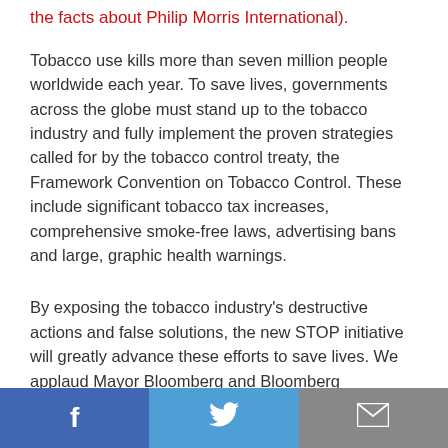the facts about Philip Morris International).
Tobacco use kills more than seven million people worldwide each year. To save lives, governments across the globe must stand up to the tobacco industry and fully implement the proven strategies called for by the tobacco control treaty, the Framework Convention on Tobacco Control. These include significant tobacco tax increases, comprehensive smoke-free laws, advertising bans and large, graphic health warnings.
By exposing the tobacco industry's destructive actions and false solutions, the new STOP initiative will greatly advance these efforts to save lives. We applaud Mayor Bloomberg and Bloomberg Philanthropies for the unparalleled leadership they continue to provide in the fight to stop the tobacco industry and the death and disease it causes.
[Figure (other): Social sharing bar with Facebook, Twitter, and Email buttons]